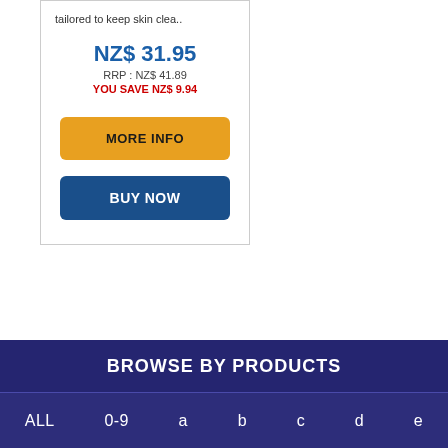tailored to keep skin clea..
NZ$ 31.95
RRP : NZ$ 41.89
YOU SAVE NZ$ 9.94
MORE INFO
BUY NOW
BROWSE BY PRODUCTS
ALL
0-9
a
b
c
d
e